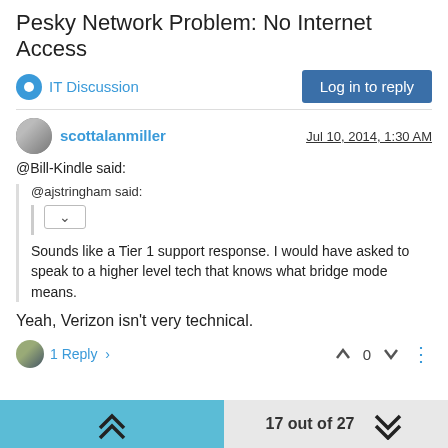Pesky Network Problem: No Internet Access
IT Discussion
Log in to reply
scottalanmiller
Jul 10, 2014, 1:30 AM
@Bill-Kindle said:
@ajstringham said:
Sounds like a Tier 1 support response. I would have asked to speak to a higher level tech that knows what bridge mode means.
Yeah, Verizon isn't very technical.
1 Reply
0
17 out of 27